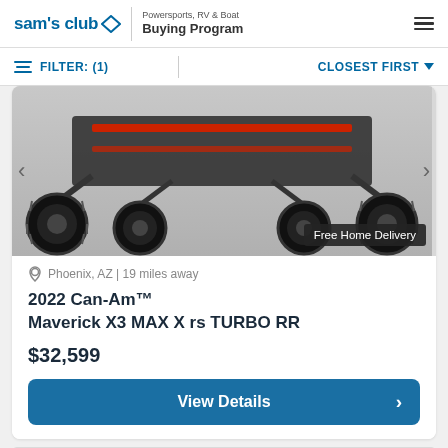sam's club | Powersports, RV & Boat Buying Program
FILTER: (1)   CLOSEST FIRST
[Figure (photo): Bottom portion of a Can-Am Maverick X3 MAX X rs TURBO RR off-road vehicle showing large black off-road tires and red/black chassis, with a 'Free Home Delivery' badge overlay]
Phoenix, AZ | 19 miles away
2022 Can-Am™ Maverick X3 MAX X rs TURBO RR
$32,599
View Details